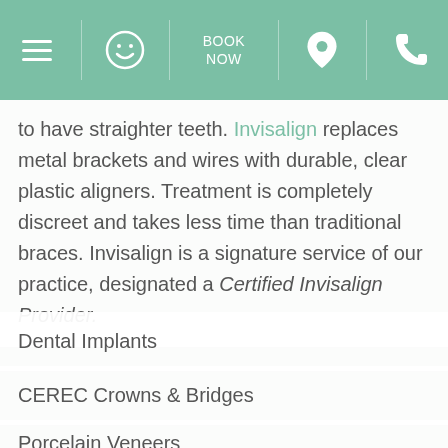BOOK NOW [navigation bar with menu, smiley, book now, location, phone icons]
to have straighter teeth. Invisalign replaces metal brackets and wires with durable, clear plastic aligners. Treatment is completely discreet and takes less time than traditional braces. Invisalign is a signature service of our practice, designated a Certified Invisalign Provider.
Dental Implants
CEREC Crowns & Bridges
Porcelain Veneers